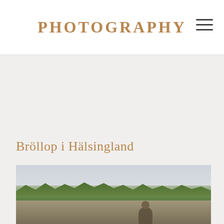PHOTOGRAPHY
Bröllop i Hälsingland
[Figure (photo): Outdoor wedding or couple photography in Hälsingland, Sweden. Shows a natural landscape with a pale sky, treeline of deciduous trees, and rocky/water foreground. A person (likely the couple) is visible in the lower portion of the image.]